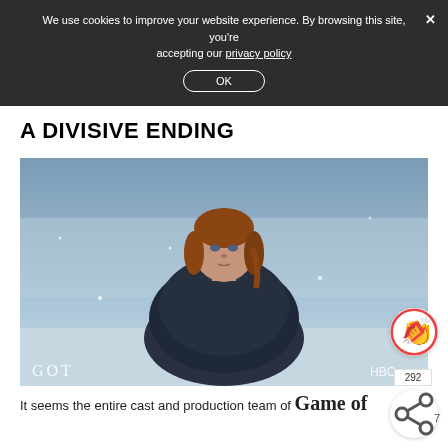We use cookies to improve your website experience. By browsing this site, you're accepting our privacy policy
OK
A DIVISIVE ENDING
[Figure (photo): A woman in fur-lined dark clothing standing outdoors in a snowy setting, with GOT and HBO logos visible in the lower corners. A reaction (clapping hands) icon and count '292' appear on the right side.]
It seems the entire cast and production team of Game o…